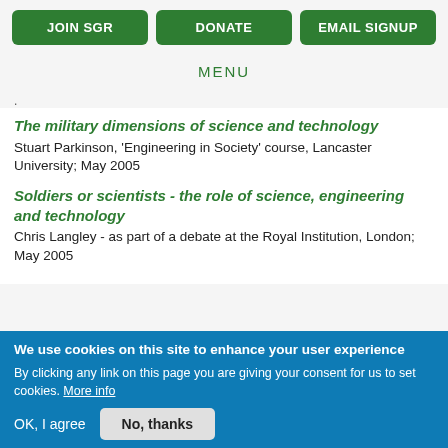JOIN SGR | DONATE | EMAIL SIGNUP
MENU
The military dimensions of science and technology
Stuart Parkinson, 'Engineering in Society' course, Lancaster University; May 2005
Soldiers or scientists - the role of science, engineering and technology
Chris Langley - as part of a debate at the Royal Institution, London; May 2005
We use cookies on this site to enhance your user experience
By clicking any link on this page you are giving your consent for us to set cookies. More info
OK, I agree   No, thanks